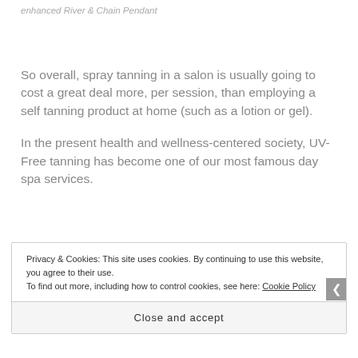So overall, spray tanning in a salon is usually going to cost a great deal more, per session, than employing a self tanning product at home (such as a lotion or gel).
In the present health and wellness-centered society, UV-Free tanning has become one of our most famous day spa services.
Privacy & Cookies: This site uses cookies. By continuing to use this website, you agree to their use.
To find out more, including how to control cookies, see here: Cookie Policy
Close and accept